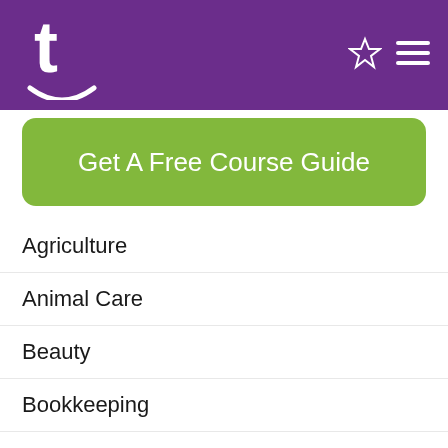t [logo] [star icon] [menu icon]
Get A Free Course Guide
Agriculture
Animal Care
Beauty
Bookkeeping
Business Administration
Child Care
Community Services
Counselling